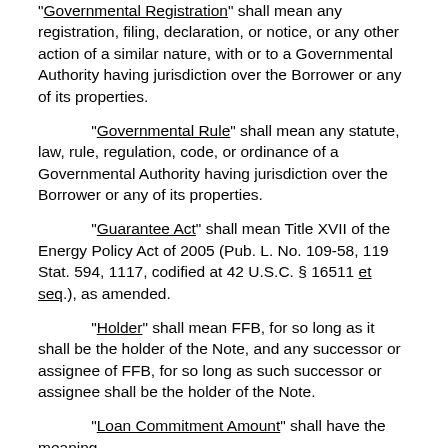"Governmental Registration" shall mean any registration, filing, declaration, or notice, or any other action of a similar nature, with or to a Governmental Authority having jurisdiction over the Borrower or any of its properties.
"Governmental Rule" shall mean any statute, law, rule, regulation, code, or ordinance of a Governmental Authority having jurisdiction over the Borrower or any of its properties.
"Guarantee Act" shall mean Title XVII of the Energy Policy Act of 2005 (Pub. L. No. 109-58, 119 Stat. 594, 1117, codified at 42 U.S.C. § 16511 et seq.), as amended.
"Holder" shall mean FFB, for so long as it shall be the holder of the Note, and any successor or assignee of FFB, for so long as such successor or assignee shall be the holder of the Note.
"Loan Commitment Amount" shall have the meaning